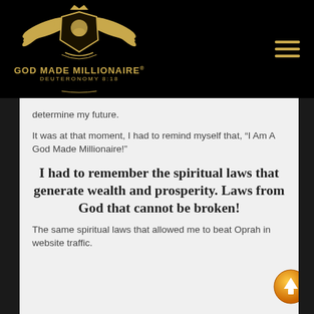[Figure (logo): God Made Millionaire logo with golden eagle wings, shield/crest emblem, and text 'GOD MADE MILLIONAIRE® DEUTERONOMY 8:18' on black background]
determine my future.
It was at that moment, I had to remind myself that, “I Am A God Made Millionaire!”
I had to remember the spiritual laws that generate wealth and prosperity. Laws from God that cannot be broken!
The same spiritual laws that allowed me to beat Oprah in website traffic.